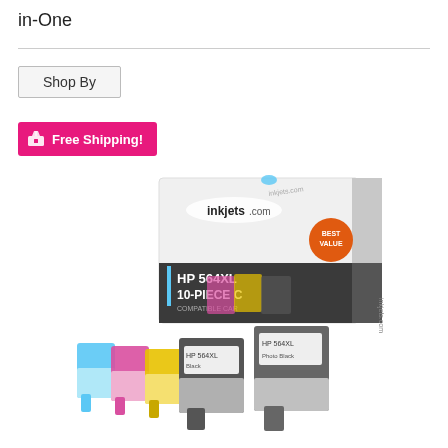in-One
Shop By
Free Shipping!
[Figure (photo): inkjets.com HP 564XL 10-Piece compatible cartridge combo pack box with individual cyan, magenta, yellow, and black ink cartridges displayed in front of the box. Orange 'BEST VALUE' badge on the box.]